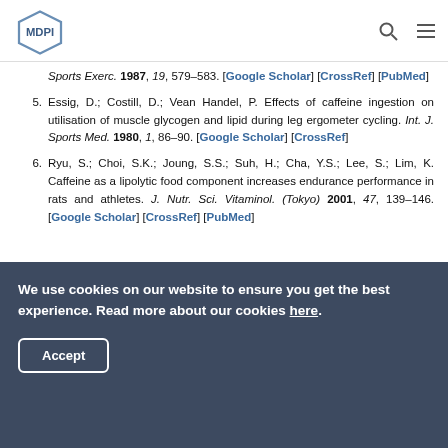MDPI
Sports Exerc. 1987, 19, 579–583. [Google Scholar] [CrossRef] [PubMed]
5. Essig, D.; Costill, D.; Vean Handel, P. Effects of caffeine ingestion on utilisation of muscle glycogen and lipid during leg ergometer cycling. Int. J. Sports Med. 1980, 1, 86–90. [Google Scholar] [CrossRef]
6. Ryu, S.; Choi, S.K.; Joung, S.S.; Suh, H.; Cha, Y.S.; Lee, S.; Lim, K. Caffeine as a lipolytic food component increases endurance performance in rats and athletes. J. Nutr. Sci. Vitaminol. (Tokyo) 2001, 47, 139–146. [Google Scholar] [CrossRef] [PubMed]
We use cookies on our website to ensure you get the best experience. Read more about our cookies here.